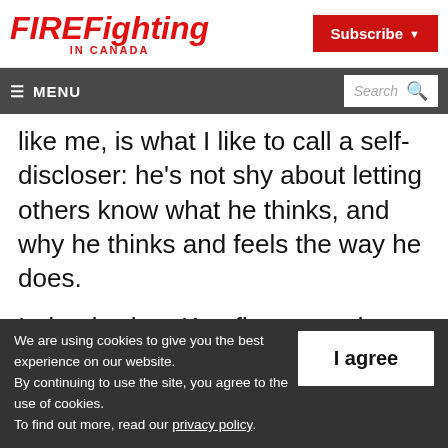FIREFighting IN CANADA
Subscribe
≡ MENU  Search
like me, is what I like to call a self-discloser: he's not shy about letting others know what he thinks, and why he thinks and feels the way he does.
Indeed, when Ken first started writing, he said what many in fire believe: that public-
We are using cookies to give you the best experience on our website.
By continuing to use the site, you agree to the use of cookies.
To find out more, read our privacy policy.
I agree